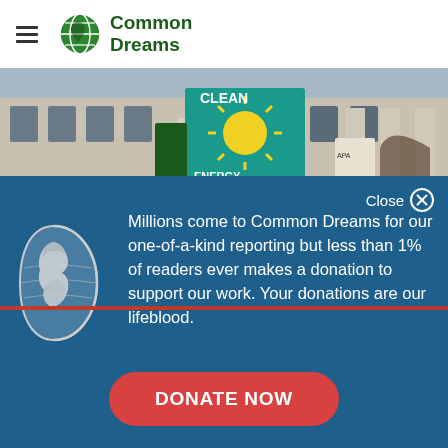Common Dreams
[Figure (photo): Protest scene in front of a classical building with columns; protesters holding 'CLEAN ENERGY' banner with sun design on teal background]
Close
[Figure (illustration): White globe/earth icon showing Americas on blue background]
Millions come to Common Dreams for our one-of-a-kind reporting but less than 1% of readers ever makes a donation to support our work. Your donations are our lifeblood.
DONATE NOW